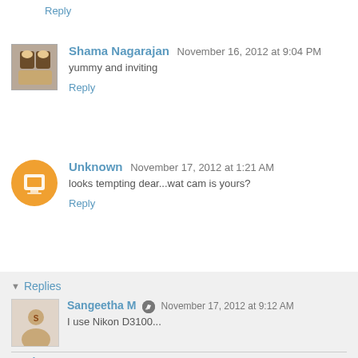Reply
Shama Nagarajan November 16, 2012 at 9:04 PM
yummy and inviting
Reply
Unknown November 17, 2012 at 1:21 AM
looks tempting dear...wat cam is yours?
Reply
Replies
Sangeetha M November 17, 2012 at 9:12 AM
I use Nikon D3100...
Reply